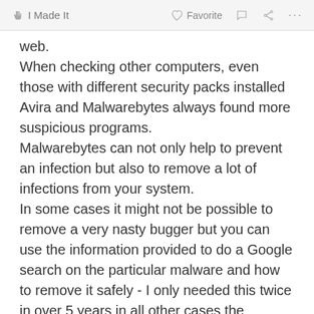I Made It  Favorite  ···
web.
When checking other computers, even those with different security packs installed Avira and Malwarebytes always found more suspicious programs.
Malwarebytes can not only help to prevent an infection but also to remove a lot of infections from your system.
In some cases it might not be possible to remove a very nasty bugger but you can use the information provided to do a Google search on the particular malware and how to remove it safely - I only needed this twice in over 5 years in all other cases the program either deleted the threat or provided detailed info on how to get rid of it.
You might be surprised to see how many tracking...